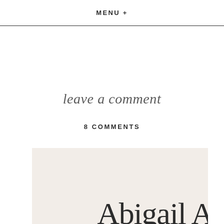MENU +
leave a comment
8 COMMENTS
[Figure (other): Comment card with name 'Abigail A' displayed in large serif font rotated/overlapping on a cream/beige background card]